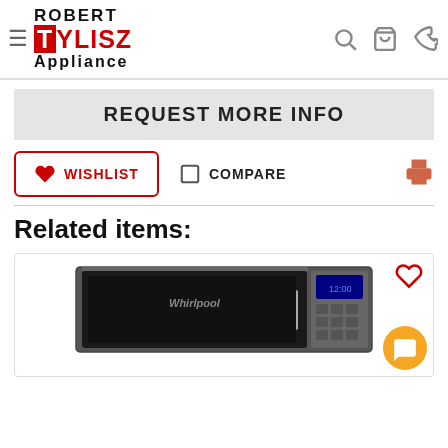Robert Tylisz Appliance — navigation header
REQUEST MORE INFO
WISHLIST   COMPARE
Related items:
[Figure (photo): A Whirlpool over-the-range microwave oven in stainless steel with black interior, shown in a product card with a heart/wishlist icon in the top right corner.]